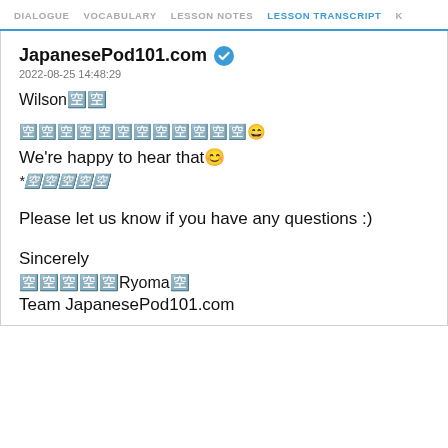DIALOGUE  VOCABULARY  LESSON NOTES  LESSON TRANSCRIPT  K
JapanesePod101.com ✔
2022-08-25 14:48:29
Wilson🈴
🈳🈳🈳🈳🈳🈳🈳🈳🈳🈳🈳😄
We're happy to hear that😊
*🈳🈳🈳🈳🈳
Please let us know if you have any questions :)
Sincerely
🈳🈳🈳🈳🈳Ryoma🈳
Team JapanesePod101.com